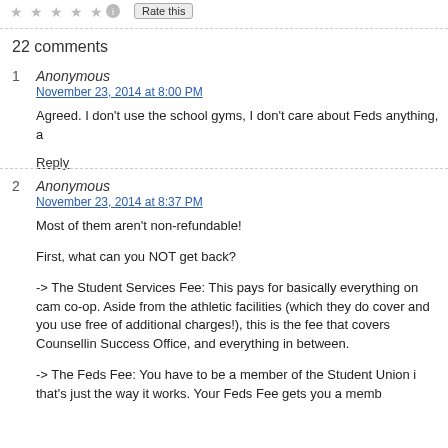Rate this
22 comments
1 Anonymous
November 23, 2014 at 8:00 PM
Agreed. I don't use the school gyms, I don't care about Feds anything, a
Reply
2 Anonymous
November 23, 2014 at 8:37 PM
Most of them aren't non-refundable!

First, what can you NOT get back?

-> The Student Services Fee: This pays for basically everything on cam co-op. Aside from the athletic facilities (which they do cover and you use free of additional charges!), this is the fee that covers Counsellin Success Office, and everything in between.

-> The Feds Fee: You have to be a member of the Student Union i that's just the way it works. Your Feds Fee gets you a memb